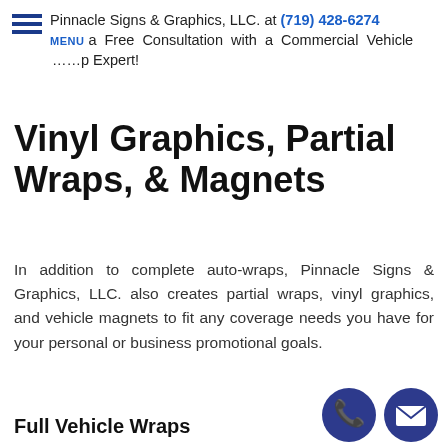Pinnacle Signs & Graphics, LLC. at (719) 428-6274 a Free Consultation with a Commercial Vehicle Wrap Expert!
Vinyl Graphics, Partial Wraps, & Magnets
In addition to complete auto-wraps, Pinnacle Signs & Graphics, LLC. also creates partial wraps, vinyl graphics, and vehicle magnets to fit any coverage needs you have for your personal or business promotional goals.
Full Vehicle Wraps